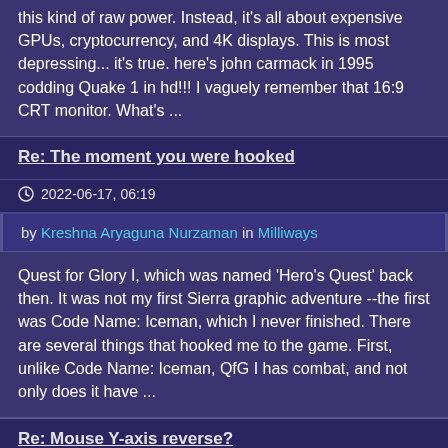this kind of raw power. Instead, it's all about expensive GPUs, cryptocurrency, and 4K displays. This is most depressing... it's true. here's john carmack in 1995 codding Quake 1 in hd!!! I vaguely remember that 16:9 CRT monitor. What's ...
Re: The moment you were hooked
2022-06-17, 06:19
by Kreshna Aryaguna Nurzaman in Milliways
Quest for Glory I, which was named 'Hero's Quest' back then. It was not my first Sierra graphic adventure --the first was Code Name: Iceman, which I never finished. There are several things that hooked me to the game. First, unlike Code Name: Iceman, QfG I has combat, and not only does it have ...
Re: Mouse Y-axis reverse?